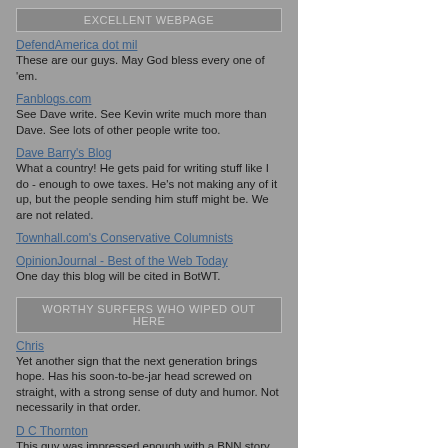EXCELLENT WEBPAGE
DefendAmerica dot mil
These are our guys. May God bless every one of 'em.
Fanblogs.com
See Dave write. See Kevin write much more than Dave. See lots of other people write too.
Dave Barry's Blog
What a country! He gets paid for writing stuff like I do - enough to owe taxes. He's not making any of it up, but the people sending him stuff might be. We are not related.
Townhall.com's Conservative Columnists
OpinionJournal - Best of the Web Today
One day this blog will be cited in BotWT.
WORTHY SURFERS WHO WIPED OUT HERE
Chris
Yet another sign that the next generation brings hope. Has his soon-to-be-jar head screwed on straight, with a strong sense of duty and humor. Not necessarily in that order.
D C Thornton
This guy was impressed enough with a BNN story to link to it. I was impressed enough with his points-of-view to link to him.
Corey
Here's a young feller who 'preciates wordsmything enough to feature counterfeit words.
GrumpyBunny
What are the odds of someone with a blog title laying claim to the phrase "Too Stupid for Words" finding another blog titled "Dumbidity"?
from training, through D-Day, Norway, Bastogne and Berlin. It co-stars Peter, man from Office Space as Captain Nixon. I would've killed to have